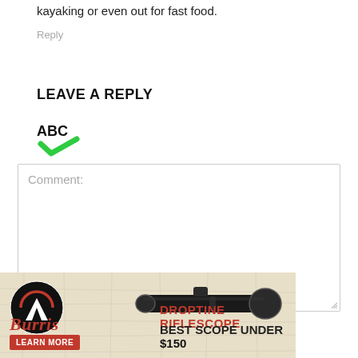kayaking or even out for fast food.
Reply
LEAVE A REPLY
[Figure (logo): ABC spelling/grammar check logo with green checkmark]
Comment:
[Figure (infographic): Burris Droptine Riflescope advertisement: logo, image of rifle scope, text 'DROPTINE RIFLESCOPE BEST SCOPE UNDER $150', LEARN MORE button]